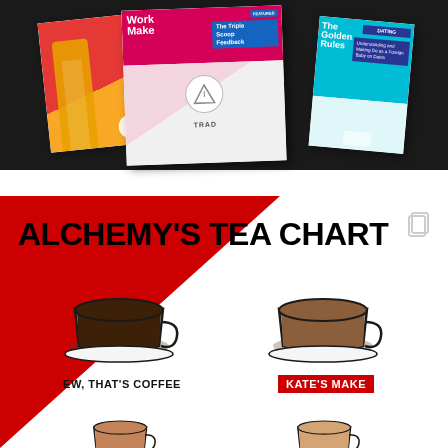[Figure (illustration): Three overlapping magazine covers spread out. Left: red and yellow cover with a figure in orange pants. Center: pink/red cover showing two people with text 'Work Make' and 'The Triple Scoop Feedback'. Right: teal cover with text and blue inset panel.]
[Figure (infographic): Alchemy's Tea Chart infographic on red and white background. Shows four cups of tea/coffee with labels: 'EW, THAT'S COFFEE' (very dark), 'KATE'S MAKE' (medium brown), and two more cups partially visible at bottom. Bold title reads ALCHEMY'S TEA CHART.]
ALCHEMY'S TEA CHART
EW, THAT'S COFFEE
KATE'S MAKE